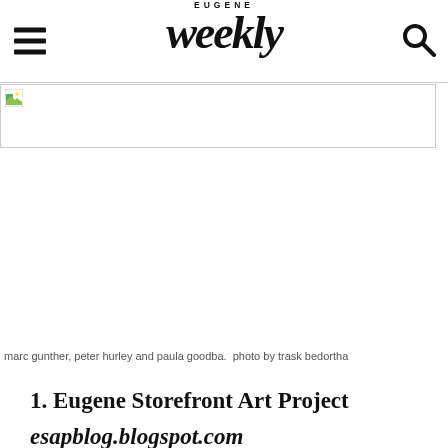EUGENE Weekly
[Figure (photo): Broken/placeholder image showing marc gunther, peter hurley and paula goodba. Photo by trask bedortha]
marc gunther, peter hurley and paula goodba.  photo by trask bedortha
1. Eugene Storefront Art Project
esapblog.blogspot.com